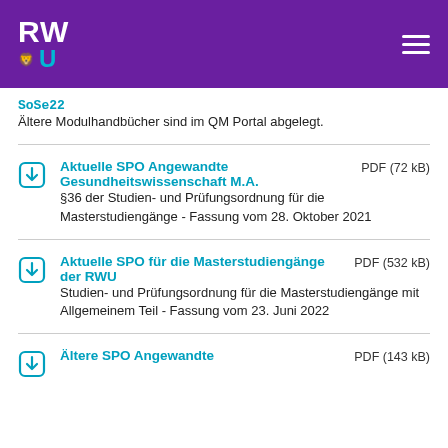RWU
SoSe22
Ältere Modulhandbücher sind im QM Portal abgelegt.
Aktuelle SPO Angewandte Gesundheitswissenschaft M.A. — PDF (72 kB)
§36 der Studien- und Prüfungsordnung für die Masterstudiengänge - Fassung vom 28. Oktober 2021
Aktuelle SPO für die Masterstudiengänge der RWU — PDF (532 kB)
Studien- und Prüfungsordnung für die Masterstudiengänge mit Allgemeinem Teil - Fassung vom 23. Juni 2022
Ältere SPO...